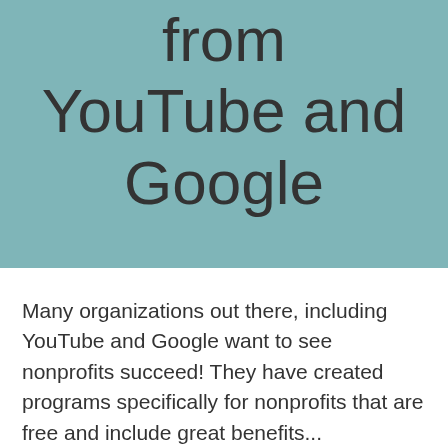from YouTube and Google
Many organizations out there, including YouTube and Google want to see nonprofits succeed! They have created programs specifically for nonprofits that are free and include great benefits...